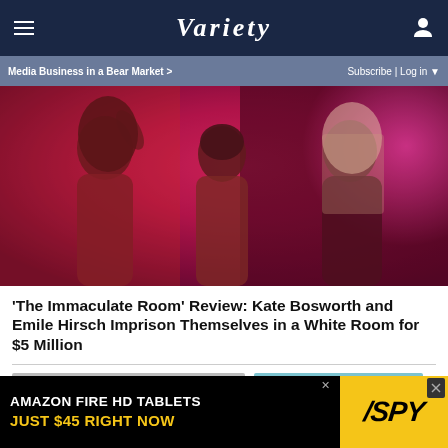Variety
Media Business in a Bear Market >   Subscribe | Log in
[Figure (photo): Three people in a pink/red-lit room: a dark-haired woman on the left, a man in the middle facing away, and a blond woman on the right. Scene from 'The Immaculate Room'.]
'The Immaculate Room' Review: Kate Bosworth and Emile Hirsch Imprison Themselves in a White Room for $5 Million
[Figure (other): Advertisement banner: AMAZON FIRE HD TABLETS JUST $45 RIGHT NOW with SPY logo on yellow background]